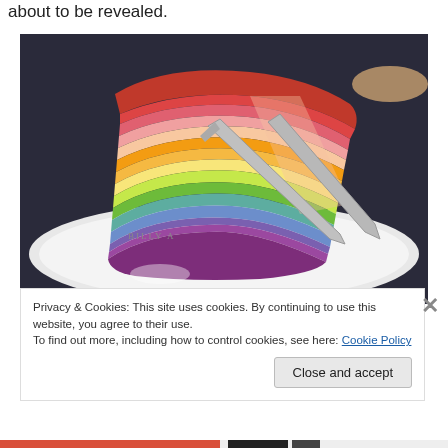about to be revealed.
[Figure (photo): A slice of rainbow mille crepe cake on a white plate at Billy A[n's], showing colorful layered crepes in red, orange, yellow, green, blue and purple, with a cake server lifting a slice.]
Privacy & Cookies: This site uses cookies. By continuing to use this website, you agree to their use.
To find out more, including how to control cookies, see here: Cookie Policy
Close and accept